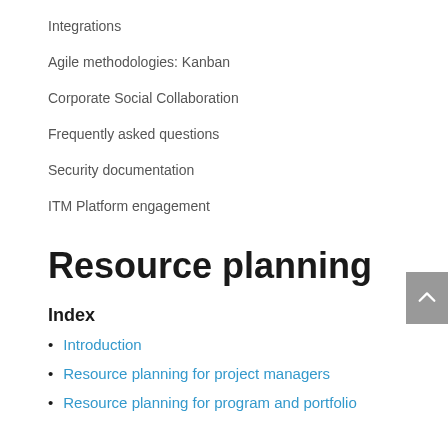Integrations
Agile methodologies: Kanban
Corporate Social Collaboration
Frequently asked questions
Security documentation
ITM Platform engagement
Resource planning
Index
Introduction
Resource planning for project managers
Resource planning for program and portfolio